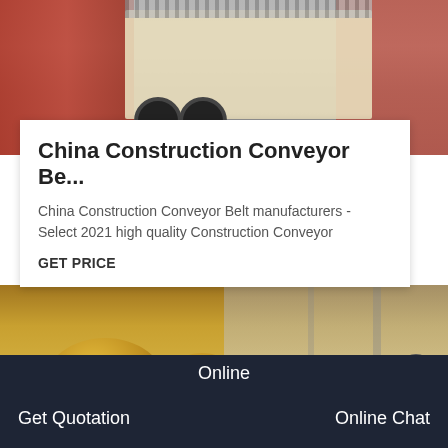[Figure (photo): Industrial machinery / trailer equipment in a warehouse or factory setting, showing wheels and red/beige mechanical components]
China Construction Conveyor Be...
China Construction Conveyor Belt manufacturers - Select 2021 high quality Construction Conveyor
GET PRICE
[Figure (photo): Close-up of yellow industrial conveyor belt or drum components with red/orange elements in a factory setting]
Online
Get Quotation
Online Chat